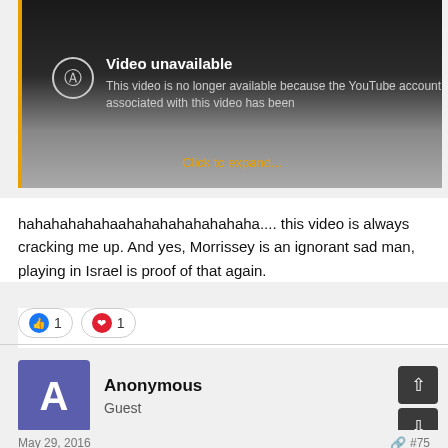[Figure (screenshot): YouTube video unavailable embed showing 'Video unavailable' message with warning icon and text 'This video is no longer available because the YouTube account associated with this video has been' and a 'Click to expand...' link in orange]
hahahahahahaahahahahahahahaha.... this video is always cracking me up. And yes, Morrissey is an ignorant sad man, playing in Israel is proof of that again.
[Figure (other): Reaction buttons: thumbs up icon with count 1, and heart icon with count 1]
Anonymous
Guest
May 29, 2016    #75
Anonymous said:
hahahahahahaahahahahahahahaha.... this video is always cracking me up. And yes, Morrissey is an ignorant sad man, playing in Israel is proof of that again.